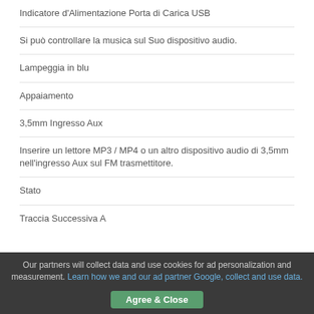Indicatore d'Alimentazione Porta di Carica USB
Si può controllare la musica sul Suo dispositivo audio.
Lampeggia in blu
Appaiamento
3,5mm Ingresso Aux
Inserire un lettore MP3 / MP4 o un altro dispositivo audio di 3,5mm nell'ingresso Aux sul FM trasmettitore.
Stato
Traccia Successiva A
Our partners will collect data and use cookies for ad personalization and measurement. Learn how we and our ad partner Google, collect and use data.